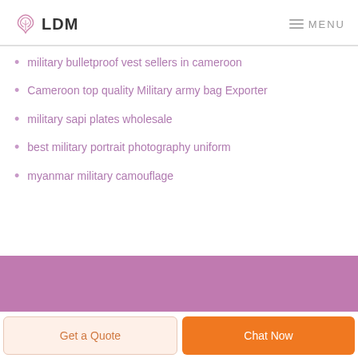LDM  MENU
military bulletproof vest sellers in cameroon
Cameroon top quality Military army bag Exporter
military sapi plates wholesale
best military portrait photography uniform
myanmar military camouflage
Get a Quote
Chat Now